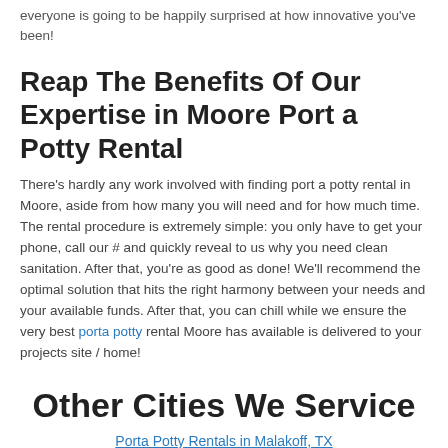everyone is going to be happily surprised at how innovative you've been!
Reap The Benefits Of Our Expertise in Moore Port a Potty Rental
There's hardly any work involved with finding port a potty rental in Moore, aside from how many you will need and for how much time. The rental procedure is extremely simple: you only have to get your phone, call our # and quickly reveal to us why you need clean sanitation. After that, you're as good as done! We'll recommend the optimal solution that hits the right harmony between your needs and your available funds. After that, you can chill while we ensure the very best porta potty rental Moore has available is delivered to your projects site / home!
Other Cities We Service
Porta Potty Rentals in Malakoff, TX